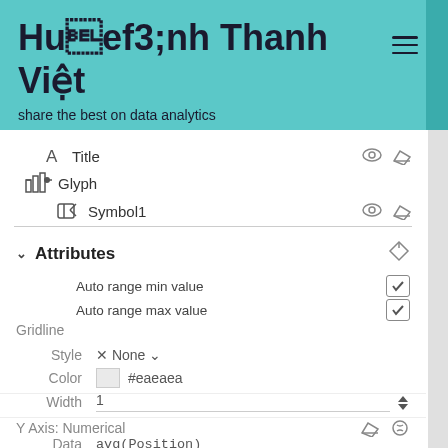Huỳnh Thanh Việt
share the best on data analytics
[Figure (screenshot): Software UI panel showing layer list with Title, Glyph, Symbol1 entries, and an Attributes section with Auto range min/max value checkboxes, Gridline settings (Style: None, Color: #eaeaea, Width: 1), Y Axis: Numerical section with Data: avg(Position) and Range: 15 - 1]
Title
Glyph
Symbol1
Attributes
Auto range min value
Auto range max value
Gridline
Style   × None
Color   #eaeaea
Width   1
Y Axis: Numerical
Data   avg(Position)
Range   15   -   1